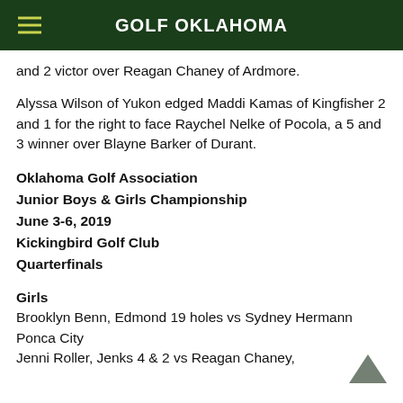GOLF OKLAHOMA
and 2 victor over Reagan Chaney of Ardmore.
Alyssa Wilson of Yukon edged Maddi Kamas of Kingfisher 2 and 1 for the right to face Raychel Nelke of Pocola, a 5 and 3 winner over Blayne Barker of Durant.
Oklahoma Golf Association Junior Boys & Girls Championship June 3-6, 2019 Kickingbird Golf Club Quarterfinals
Girls
Brooklyn Benn, Edmond 19 holes vs Sydney Hermann Ponca City
Jenni Roller, Jenks 4 & 2 vs Reagan Chaney,